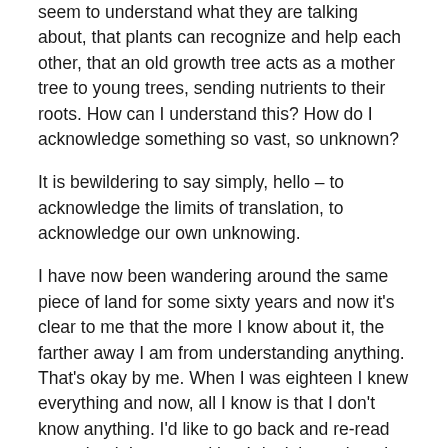seem to understand what they are talking about, that plants can recognize and help each other, that an old growth tree acts as a mother tree to young trees, sending nutrients to their roots. How can I understand this? How do I acknowledge something so vast, so unknown?
It is bewildering to say simply, hello – to acknowledge the limits of translation, to acknowledge our own unknowing.
I have now been wandering around the same piece of land for some sixty years and now it's clear to me that the more I know about it, the farther away I am from understanding anything. That's okay by me. When I was eighteen I knew everything and now, all I know is that I don't know anything. I'd like to go back and re-read every book I ever read but I don't have time. I do have time, however, to watch and see and listen as I go for my daily walk.